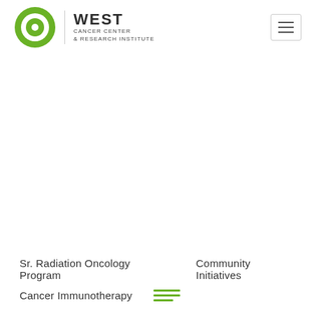West Cancer Center & Research Institute
Sr. Radiation Oncology Program
Community Initiatives
Cancer Immunotherapy